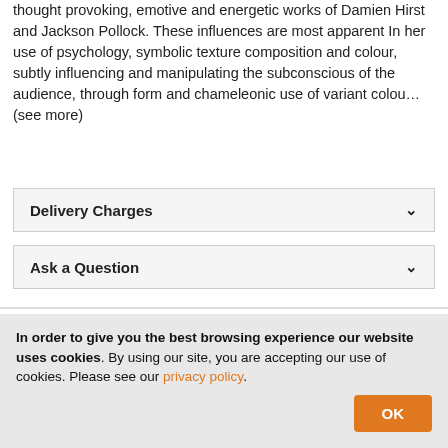thought provoking, emotive and energetic works of Damien Hirst and Jackson Pollock. These influences are most apparent In her use of psychology, symbolic texture composition and colour, subtly influencing and manipulating the subconscious of the audience, through form and chameleonic use of variant colou… (see more)
Delivery Charges
Ask a Question
More by this artist
In order to give you the best browsing experience our website uses cookies. By using our site, you are accepting our use of cookies. Please see our privacy policy.